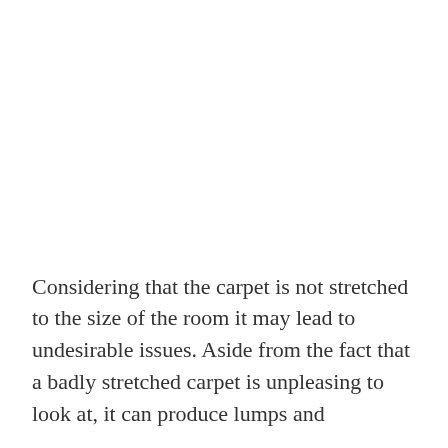Considering that the carpet is not stretched to the size of the room it may lead to undesirable issues. Aside from the fact that a badly stretched carpet is unpleasing to look at, it can produce lumps and